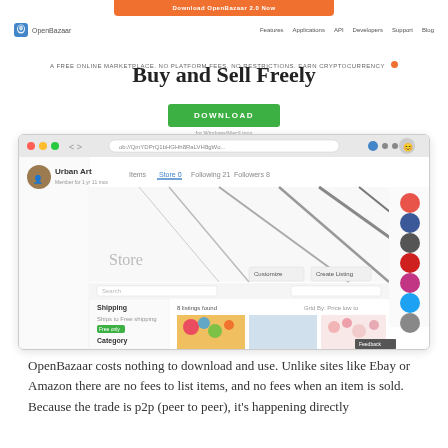OpenBazaar - Features | Applications | API | Developers | Support | Blog
Buy and Sell Freely
A FREE ONLINE MARKETPLACE. NO PLATFORM FEES. NO RESTRICTIONS. EARN CRYPTOCURRENCY
[Figure (screenshot): Screenshot of OpenBazaar application showing Urban Art store page with colorful artwork listings]
OpenBazaar costs nothing to download and use. Unlike sites like Ebay or Amazon there are no fees to list items, and no fees when an item is sold. Because the trade is p2p (peer to peer), it's happening directly